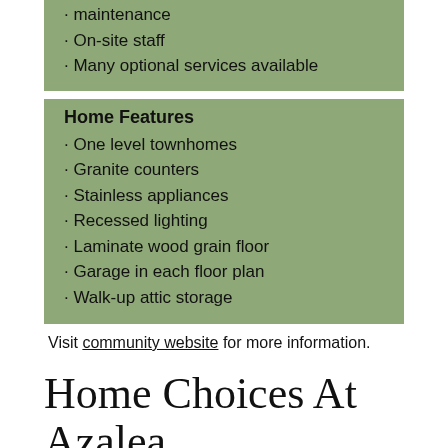maintenance
On-site staff
Many optional services available
Home Features
One level townhomes
Granite counters
Stainless appliances
Recessed lighting
Laminate wood grain floor
Garage in each floor plan
Walk-up attic storage
Visit community website for more information.
Home Choices At Azalea